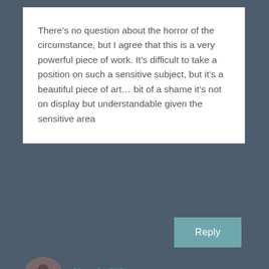There’s no question about the horror of the circumstance, but I agree that this is a very powerful piece of work. It’s difficult to take a position on such a sensitive subject, but it’s a beautiful piece of art… bit of a shame it’s not on display but understandable given the sensitive area
Reply
Maggie O’C says:
January 3, 2013 at 10:24 am MST
It is magnificent. WordPress definitely got this FR right!! Thanks for sharing it...